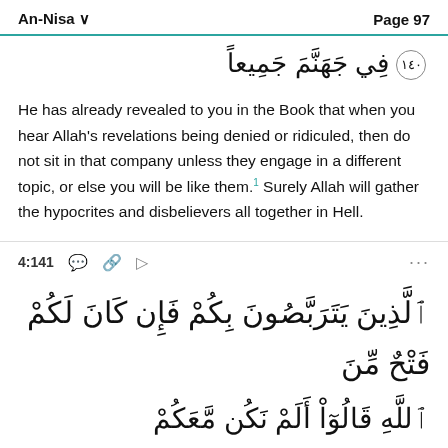An-Nisa   Page 97
[Figure (other): Arabic text with verse number 140 in decorative circle: في جَهَنَّمَ جَمِيعاً]
He has already revealed to you in the Book that when you hear Allah's revelations being denied or ridiculed, then do not sit in that company unless they engage in a different topic, or else you will be like them.¹ Surely Allah will gather the hypocrites and disbelievers all together in Hell.
4:141
[Figure (other): Arabic Quran text verse 4:141: اَلَّذِينَ يَتَرَبَّصُونَ بِكُمْ فَإِن كَانَ لَكُمْ فَتْحٌ مِّنَ]
[Figure (other): Arabic Quran text continuation of verse 4:141]